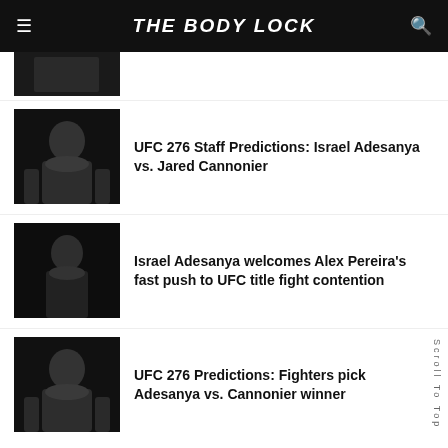THE BODY LOCK
[Figure (photo): Partially visible fighter photo at top of page]
UFC 276 Staff Predictions: Israel Adesanya vs. Jared Cannonier
[Figure (photo): Israel Adesanya pointing upward with UFC belt, dark background]
Israel Adesanya welcomes Alex Pereira's fast push to UFC title fight contention
[Figure (photo): Israel Adesanya looking up, close-up portrait, dark background]
UFC 276 Predictions: Fighters pick Adesanya vs. Cannonier winner
[Figure (photo): Fighter photo partially visible at bottom of page]